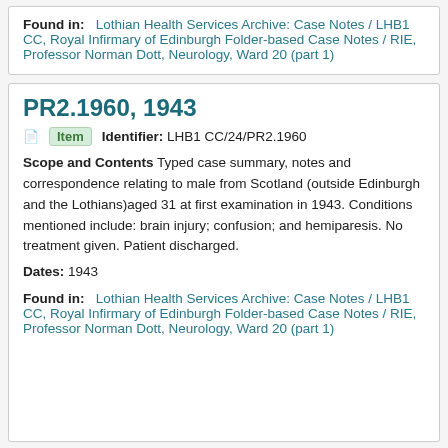Found in: Lothian Health Services Archive: Case Notes / LHB1 CC, Royal Infirmary of Edinburgh Folder-based Case Notes / RIE, Professor Norman Dott, Neurology, Ward 20 (part 1)
PR2.1960, 1943
Item   Identifier: LHB1 CC/24/PR2.1960
Scope and Contents Typed case summary, notes and correspondence relating to male from Scotland (outside Edinburgh and the Lothians)aged 31 at first examination in 1943. Conditions mentioned include: brain injury; confusion; and hemiparesis. No treatment given. Patient discharged.
Dates: 1943
Found in: Lothian Health Services Archive: Case Notes / LHB1 CC, Royal Infirmary of Edinburgh Folder-based Case Notes / RIE, Professor Norman Dott, Neurology, Ward 20 (part 1)